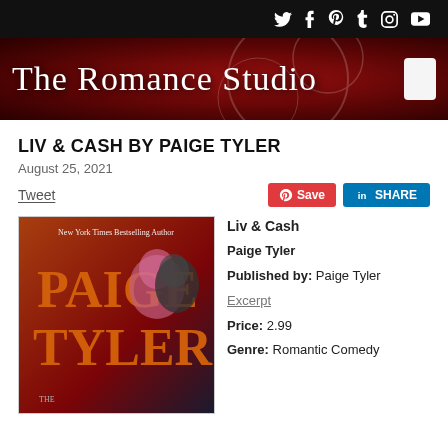Social media icons: Twitter, Facebook, Pinterest, Tumblr, Instagram, YouTube
[Figure (logo): The Romance Studio website banner with dark red decorative background and white serif text logo]
LIV & CASH BY PAIGE TYLER
August 25, 2021
Tweet | Save | SHARE
[Figure (illustration): Book cover for Liv & Cash by Paige Tyler. Shows two people close together - a woman with pink hair and a dark-haired man. Text: New York Times Bestselling Author PAIGE TYLER]
Liv & Cash
Paige Tyler
Published by: Paige Tyler
Excerpt
Price: 2.99
Genre: Romantic Comedy